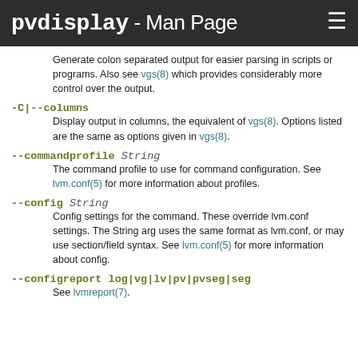pvdisplay - Man Page
Generate colon separated output for easier parsing in scripts or programs. Also see vgs(8) which provides considerably more control over the output.
-C|--columns
Display output in columns, the equivalent of vgs(8). Options listed are the same as options given in vgs(8).
--commandprofile String
The command profile to use for command configuration. See lvm.conf(5) for more information about profiles.
--config String
Config settings for the command. These override lvm.conf settings. The String arg uses the same format as lvm.conf, or may use section/field syntax. See lvm.conf(5) for more information about config.
--configreport log|vg|lv|pv|pvseg|seg
See lvmreport(7).